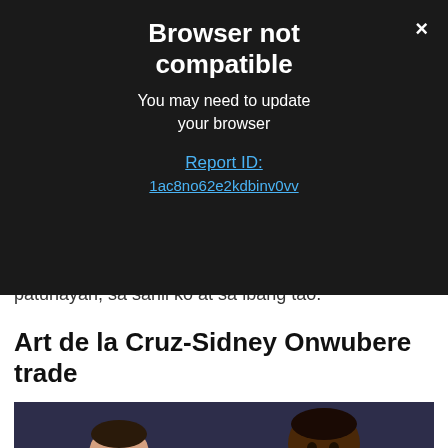[Figure (screenshot): Browser not compatible error overlay on a dark background with close button (×). Shows title 'Browser not compatible', subtitle 'You may need to update your browser', and a 'Report ID:' link with partial ID '1ac8no62e2kdbinv0vv'.]
"Ngayon, mayroon na naman akong kailangang patunayan, sa sarili ko at sa ibang tao."
Art de la Cruz-Sidney Onwubere trade
[Figure (photo): Basketball game photo showing two players in action — one in a red Barangay Ginebra jersey and one in an orange NorthPort jersey.]